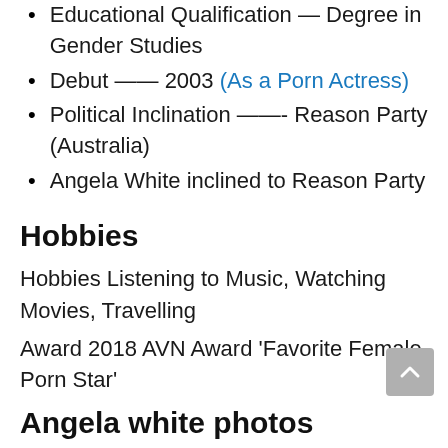Educational Qualification — Degree in Gender Studies
Debut —— 2003 (As a Porn Actress)
Political Inclination ——- Reason Party (Australia)
Angela White inclined to Reason Party
Hobbies
Hobbies Listening to Music, Watching Movies, Travelling
Award 2018 AVN Award ‘Favorite Female Porn Star’
Angela white photos